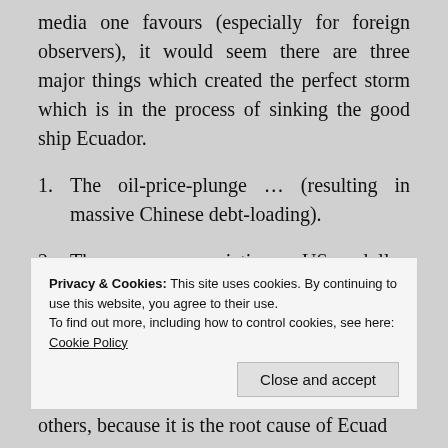media one favours (especially for foreign observers), it would seem there are three major things which created the perfect storm which is in the process of sinking the good ship Ecuador.
1. The oil-price-plunge … (resulting in massive Chinese debt-loading).
2. The ever-appreciating US dollar (which is Ecuador's currency).
3. The crippling and demoralising effect of the
Privacy & Cookies: This site uses cookies. By continuing to use this website, you agree to their use.
To find out more, including how to control cookies, see here: Cookie Policy
Close and accept
others, because it is the root cause of Ecuad...